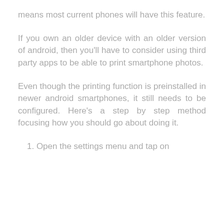means most current phones will have this feature.
If you own an older device with an older version of android, then you'll have to consider using third party apps to be able to print smartphone photos.
Even though the printing function is preinstalled in newer android smartphones, it still needs to be configured. Here's a step by step method focusing how you should go about doing it.
1. Open the settings menu and tap on